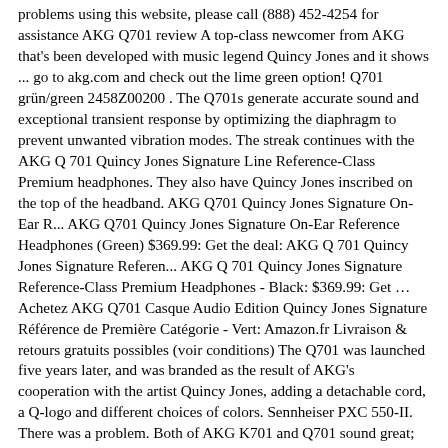problems using this website, please call (888) 452-4254 for assistance AKG Q701 review A top-class newcomer from AKG that's been developed with music legend Quincy Jones and it shows ... go to akg.com and check out the lime green option! Q701 grün/green 2458Z00200 . The Q701s generate accurate sound and exceptional transient response by optimizing the diaphragm to prevent unwanted vibration modes. The streak continues with the AKG Q 701 Quincy Jones Signature Line Reference-Class Premium headphones. They also have Quincy Jones inscribed on the top of the headband. AKG Q701 Quincy Jones Signature On-Ear R... AKG Q701 Quincy Jones Signature On-Ear Reference Headphones (Green) $369.99: Get the deal: AKG Q 701 Quincy Jones Signature Referen... AKG Q 701 Quincy Jones Signature Reference-Class Premium Headphones - Black: $369.99: Get … Achetez AKG Q701 Casque Audio Edition Quincy Jones Signature Référence de Première Catégorie - Vert: Amazon.fr Livraison & retours gratuits possibles (voir conditions) The Q701 was launched five years later, and was branded as the result of AKG's cooperation with the artist Quincy Jones, adding a detachable cord, a Q-logo and different choices of colors. Sennheiser PXC 550-II. There was a problem. Both of AKG K701 and Q701 sound great; the K model is generally well balanced throughout the frequency range as well as detailed. Sparkling harmonics, incredibly low distortion and unequalled realism in the lower frequencies - it's the huge, airy, three-dimensional sound that's been available only in the finest high-end speaker systems and microphones. It believ...